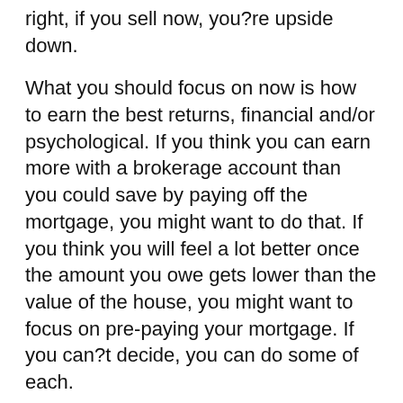right, if you sell now, you?re upside down.
What you should focus on now is how to earn the best returns, financial and/or psychological. If you think you can earn more with a brokerage account than you could save by paying off the mortgage, you might want to do that. If you think you will feel a lot better once the amount you owe gets lower than the value of the house, you might want to focus on pre-paying your mortgage. If you can?t decide, you can do some of each.
Three of these don?t really apply to me.
From #1: ?You?re buying your home because you think it will rise in value over time.? No, I?m buying it because I want to own it. One day it will be paid off. And already I have more freedom in